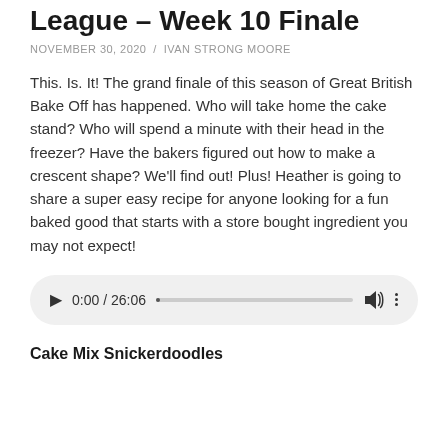League – Week 10 Finale
NOVEMBER 30, 2020 / IVAN STRONG MOORE
This. Is. It! The grand finale of this season of Great British Bake Off has happened. Who will take home the cake stand? Who will spend a minute with their head in the freezer? Have the bakers figured out how to make a crescent shape? We'll find out! Plus! Heather is going to share a super easy recipe for anyone looking for a fun baked good that starts with a store bought ingredient you may not expect!
[Figure (other): Audio player widget showing 0:00 / 26:06 with play button, progress bar, volume icon, and options icon]
Cake Mix Snickerdoodles